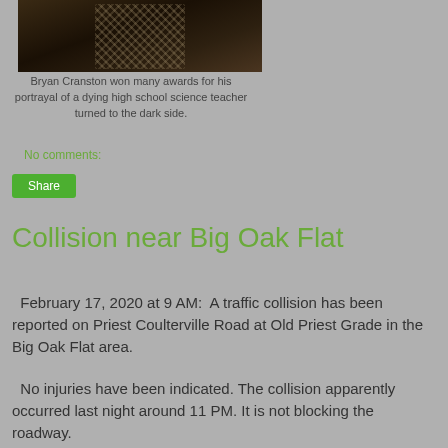[Figure (photo): Dark moody photo of a person, partially visible, wearing a plaid or checkered shirt/jacket, dark background]
Bryan Cranston won many awards for his portrayal of a dying high school science teacher turned to the dark side.
No comments:
Share
Collision near Big Oak Flat
February 17, 2020 at 9 AM:  A traffic collision has been reported on Priest Coulterville Road at Old Priest Grade in the Big Oak Flat area.
No injuries have been indicated. The collision apparently occurred last night around 11 PM. It is not blocking the roadway.